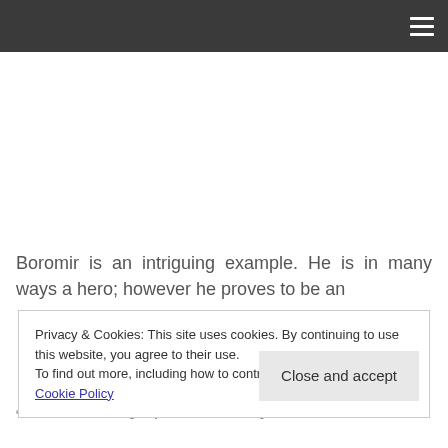[Navigation bar with hamburger menu icon]
Boromir is an intriguing example. He is in many ways a hero; however he proves to be an
Privacy & Cookies: This site uses cookies. By continuing to use this website, you agree to their use.
To find out more, including how to control cookies, see here: Cookie Policy
Close and accept
S. Severus shape from the harry